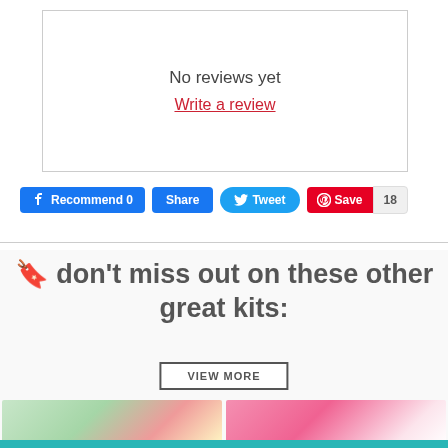No reviews yet
Write a review
[Figure (screenshot): Social sharing buttons: Facebook Recommend 0, Share, Tweet, Pinterest Save, count 18]
🔖 don't miss out on these other great kits:
VIEW MORE
[Figure (photo): Two product kit images side by side showing printable activity sheets]